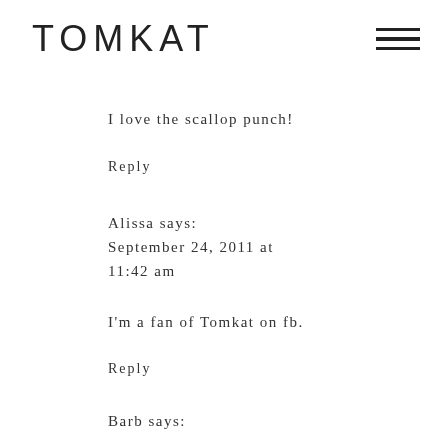TOMKAT
I love the scallop punch!
Reply
Alissa says:
September 24, 2011 at 11:42 am
I'm a fan of Tomkat on fb.
Reply
Barb says: